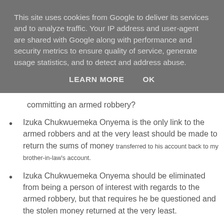This site uses cookies from Google to deliver its services and to analyze traffic. Your IP address and user-agent are shared with Google along with performance and security metrics to ensure quality of service, generate usage statistics, and to detect and address abuse.
LEARN MORE   OK
committing an armed robbery?
Izuka Chukwuemeka Onyema is the only link to the armed robbers and at the very least should be made to return the sums of money transferred to his account back to my brother-in-law's account.
Izuka Chukwuemeka Onyema should be eliminated from being a person of interest with regards to the armed robbery, but that requires he be questioned and the stolen money returned at the very least.